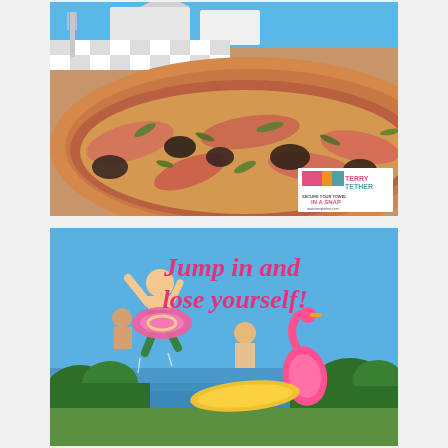[Figure (photo): Close-up photo of a flatbread/pizza with salmon, mushrooms and herbs toppings, with a blue poolside background and white chairs visible at top. Terry Tether brand logo overlay in bottom right corner reading 'TERRY TETHER - SECURE YOUR TOWEL IN A SNAP - www.terrytether.com']
[Figure (photo): Photo of children jumping and playing by a pool on a sunny day with inflatable flamingo and other pool floats. Pink cursive text overlay reads 'Jump in and lose yourself!']